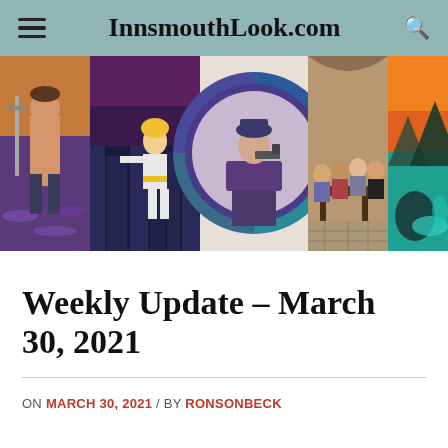InnsmouthLook.com
[Figure (photo): A horizontal strip of five fantasy/sci-fi images: (1) a muscular warrior with a sword and tentacles, (2) a blonde female superhero flying over a city, (3) a woman in purple holding a gun framed in a circular stained-glass style border, (4) a group of people gathered around a table in a tavern-like setting, (5) a sweeping alien landscape with teal water and orange sky.]
Weekly Update – March 30, 2021
ON MARCH 30, 2021 / BY RONSONBECK